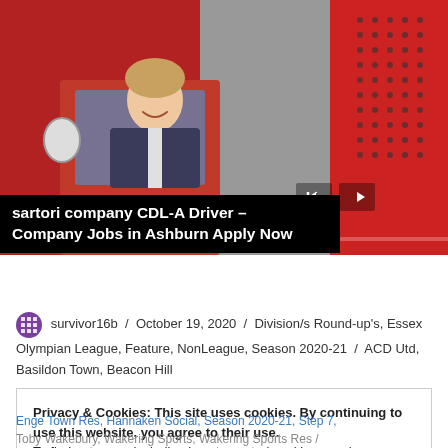[Figure (photo): Woman smiling in the cab of a red truck, with navigation arrows and a progress bar overlay]
sartori company CDL-A Driver – Company Jobs in Ashburn Apply Now
survivor16b / October 19, 2020 / Division/s Round-up's, Essex Olympian League, Feature, NonLeague, Season 2020-21 / ACD Utd, Basildon Town, Beacon Hill
Privacy & Cookies: This site uses cookies. By continuing to use this website, you agree to their use.
To find out more, including how to control cookies, see here:
Cookie Policy
Close and accept
Enge Town Res, Hannakin Social, Season 2020-21, Step 7, Toby Wakebury, Wakering Sports, Wakering Sports Res /